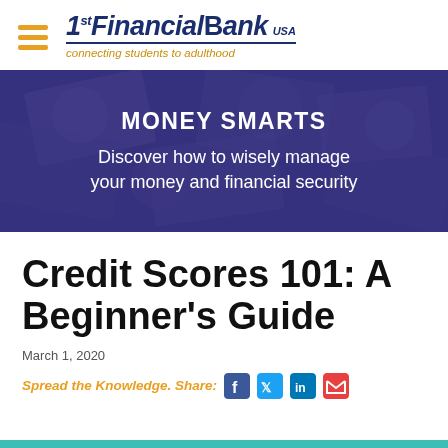1st Financial Bank USA — connecting students to adulthood
[Figure (illustration): Hero banner with purple overlay on money bills background, showing MONEY SMARTS heading and subtitle text]
Credit Scores 101: A Beginner's Guide
March 1, 2020
Spread the Knowledge. Share: